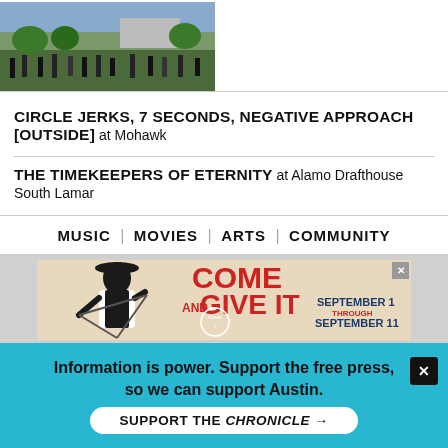[Figure (photo): Outdoor crowd scene on a grassy area, possibly a public event or rally]
CIRCLE JERKS, 7 SECONDS, NEGATIVE APPROACH [OUTSIDE] at Mohawk
THE TIMEKEEPERS OF ETERNITY at Alamo Drafthouse South Lamar
MUSIC | MOVIES | ARTS | COMMUNITY
[Figure (illustration): Austin Restaurant Weeks advertisement: 'COME AND GIVE IT' with illustration of a person in apron playing triangle, September 1 through September 11]
Information is power. Support the free press, so we can support Austin. SUPPORT THE CHRONICLE →